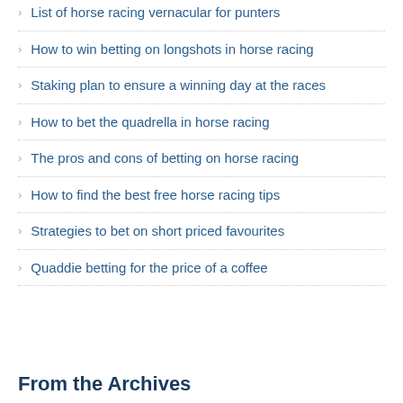List of horse racing vernacular for punters
How to win betting on longshots in horse racing
Staking plan to ensure a winning day at the races
How to bet the quadrella in horse racing
The pros and cons of betting on horse racing
How to find the best free horse racing tips
Strategies to bet on short priced favourites
Quaddie betting for the price of a coffee
From the Archives